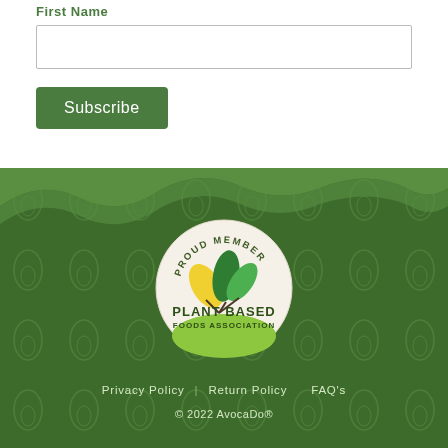First Name
[Figure (illustration): Text input field for First Name]
Subscribe
[Figure (logo): Proud Member Plant Based Foods Association badge with leaf logo inside circular white badge on dark green avocado-patterned background]
Privacy Policy | Return Policy | FAQ's
© 2022 AvocaDo®